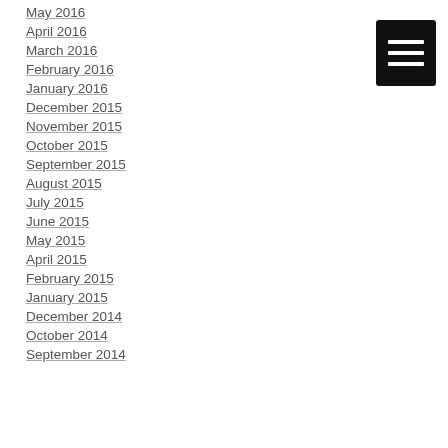May 2016
April 2016
March 2016
February 2016
January 2016
December 2015
November 2015
October 2015
September 2015
August 2015
July 2015
June 2015
May 2015
April 2015
February 2015
January 2015
December 2014
October 2014
September 2014
[Figure (illustration): Hamburger menu icon — black rounded rectangle with three white horizontal bars]